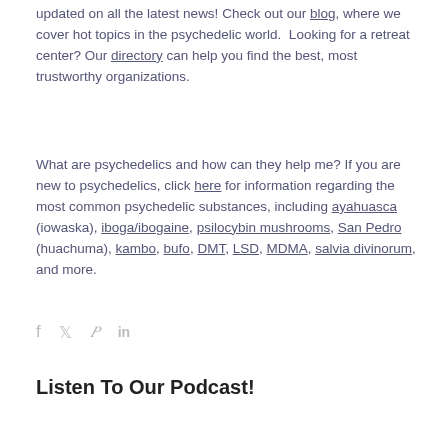updated on all the latest news! Check out our blog, where we cover hot topics in the psychedelic world.  Looking for a retreat center? Our directory can help you find the best, most trustworthy organizations.
What are psychedelics and how can they help me? If you are new to psychedelics, click here for information regarding the most common psychedelic substances, including ayahuasca (iowaska), iboga/ibogaine, psilocybin mushrooms, San Pedro (huachuma), kambo, bufo, DMT, LSD, MDMA, salvia divinorum, and more.
[Figure (other): Social sharing icons: Facebook (f), Twitter (bird), Pinterest (P), LinkedIn (in)]
Listen To Our Podcast!